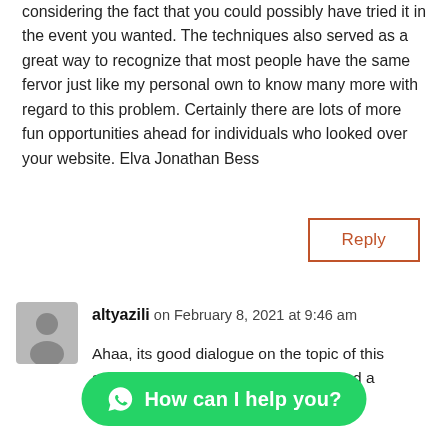considering the fact that you could possibly have tried it in the event you wanted. The techniques also served as a great way to recognize that most people have the same fervor just like my personal own to know many more with regard to this problem. Certainly there are lots of more fun opportunities ahead for individuals who looked over your website. Elva Jonathan Bess
Reply
[Figure (illustration): Grey avatar/user icon placeholder image]
altyazili on February 8, 2021 at 9:46 am
Ahaa, its good dialogue on the topic of this article, I have read all that, so now I am also have read all that so now I am also commenting at this place.| Trix Arnold
How can I help you?